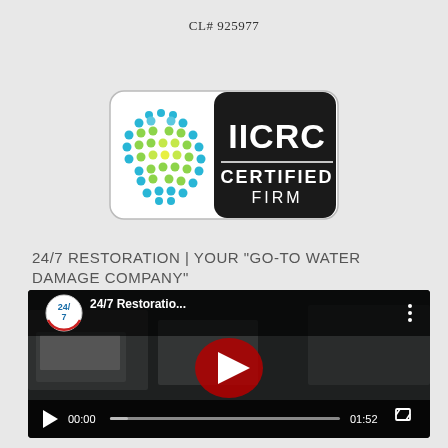CL# 925977
[Figure (logo): IICRC Certified Firm logo with globe made of colored dots on white background and IICRC CERTIFIED FIRM text on black background]
24/7 RESTORATION | YOUR "GO-TO WATER DAMAGE COMPANY"
[Figure (screenshot): YouTube video thumbnail showing 24/7 Restoration video with play button, channel icon with 24/7 logo, title '24/7 Restoratio...', three-dot menu, dark background with vans, video controls showing 00:00 / 01:52]